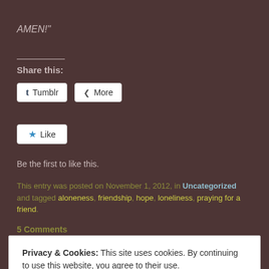AMEN!"
Share this:
[Figure (screenshot): Tumblr share button]
[Figure (screenshot): More share button]
[Figure (screenshot): Like button with star icon]
Be the first to like this.
This entry was posted on November 1, 2012, in Uncategorized and tagged aloneness, friendship, hope, loneliness, praying for a friend.
5 Comments
Privacy & Cookies: This site uses cookies. By continuing to use this website, you agree to their use. To find out more, including how to control cookies, see here: Cookie Policy
Close and accept